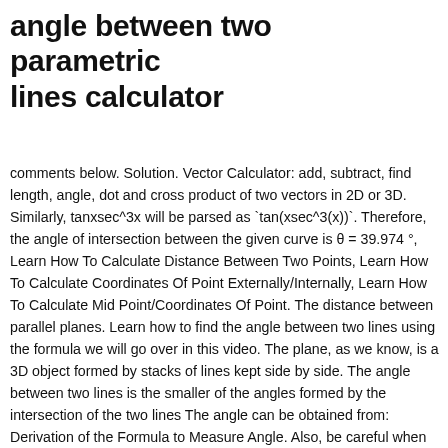angle between two parametric lines calculator
comments below. Solution. Vector Calculator: add, subtract, find length, angle, dot and cross product of two vectors in 2D or 3D. Similarly, tanxsec^3x will be parsed as `tan(xsec^3(x))`. Therefore, the angle of intersection between the given curve is θ = 39.974 °, Learn How To Calculate Distance Between Two Points, Learn How To Calculate Coordinates Of Point Externally/Internally, Learn How To Calculate Mid Point/Coordinates Of Point. The distance between parallel planes. Learn how to find the angle between two lines using the formula we will go over in this video. The plane, as we know, is a 3D object formed by stacks of lines kept side by side. The angle between two lines is the smaller of the angles formed by the intersection of the two lines The angle can be obtained from: Derivation of the Formula to Measure Angle. Also, be careful when you write fractions: 1/x^2 ln(x) is `1/x^2 ln(x)`, and 1/(x^2 ln(x)) is `1/(x^2 ln(x))`. The specific shape of the part depends on the